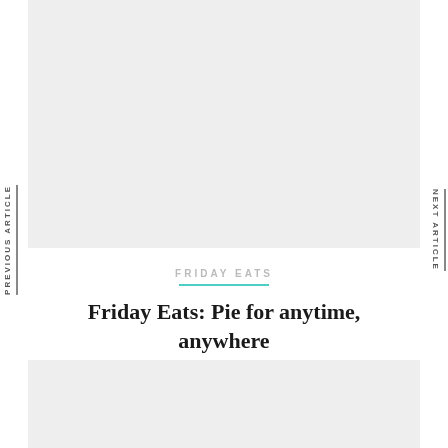[Figure (photo): Top image placeholder, light gray background]
PREVIOUS ARTICLE
NEXT ARTICLE
FRIDAY EATS
Friday Eats: Pie for anytime, anywhere
[Figure (photo): Bottom image placeholder, light gray background]